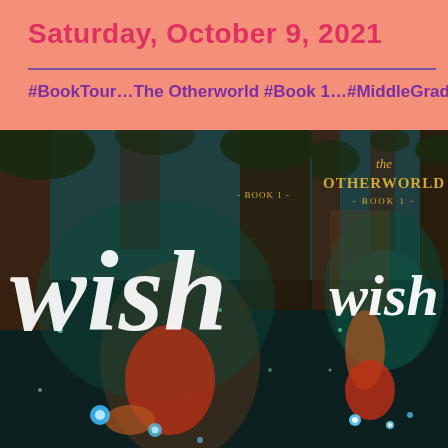Saturday, October 9, 2021
#BookTour…The Otherworld #Book 1…#MiddleGrade #Fan
[Figure (photo): Book cover of 'The Otherworld - Book 1 -' titled 'Wish' featuring a fantasy forest scene with a red-haired girl holding glowing orbs, dark atmospheric background with teal and brown tones. The title 'the OTHERWORLD - BOOK 1 -' appears at top in gold script/serif font, and 'wish' in large white cursive script in the middle.]